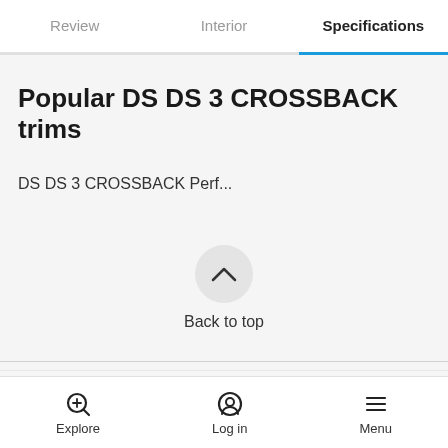Review  Interior  Specifications
Popular DS DS 3 CROSSBACK trims
DS DS 3 CROSSBACK Perf...
[Figure (other): Back to top button: circular arrow-up chevron icon with label 'Back to top']
Explore  Log in  Menu